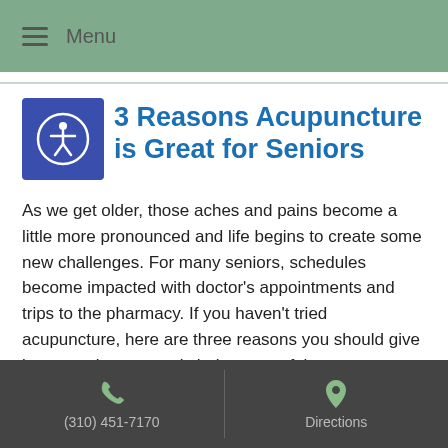Menu
3 Reasons Acupuncture is Great for Seniors
As we get older, those aches and pains become a little more pronounced and life begins to create some new challenges. For many seniors, schedules become impacted with doctor's appointments and trips to the pharmacy. If you haven't tried acupuncture, here are three reasons you should give it a try as it can greatly help some of the greatest
Continue reading ➡
(310) 451-7170  Directions